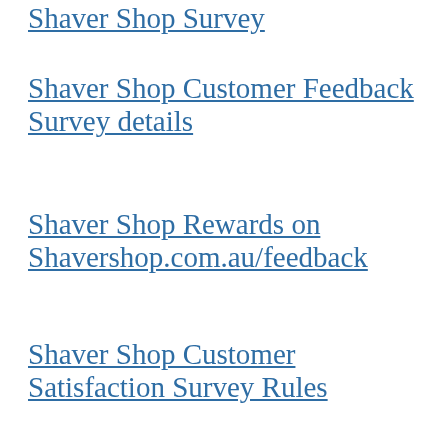Shaver Shop Survey
Shaver Shop Customer Feedback Survey details
Shaver Shop Rewards on Shavershop.com.au/feedback
Shaver Shop Customer Satisfaction Survey Rules
Shaver Shop Feedback Survey Requirements
How to take a part in